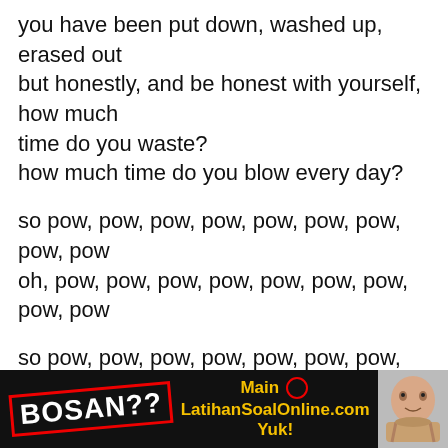you have been put down, washed up, erased out but honestly, and be honest with yourself, how much time do you waste?
how much time do you blow every day?
so pow, pow, pow, pow, pow, pow, pow, pow, pow
oh, pow, pow, pow, pow, pow, pow, pow, pow, pow
so pow, pow, pow, pow, pow, pow, pow, pow, pow
pow, pow, pow, pow, pow, pow, pow, pow, pow
the return of the police
with you on the inside
me on the outside
there’s advantages to both
[Figure (infographic): Advertisement banner with black background. Text reads 'BOSAN??' in white with red border stamp style, then 'Main [icon] LatihanSoalOnline.com Yuk!' in yellow bold text. Right side shows a child's face.]